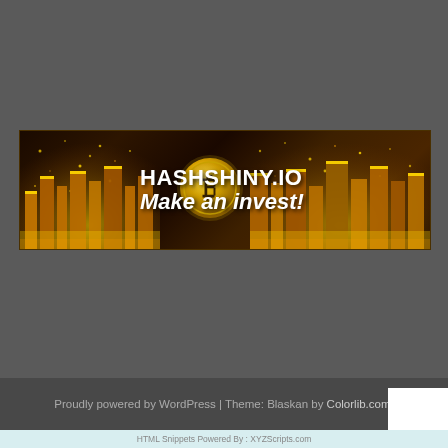[Figure (illustration): Hashshiny.io cryptocurrency investment banner with golden city skyline, Bitcoin coin graphic, and text 'HASHSHINY.IO Make an invest!' on dark background]
Proudly powered by WordPress | Theme: Blaskan by Colorlib.com.
HTML Snippets Powered By : XYZScripts.com